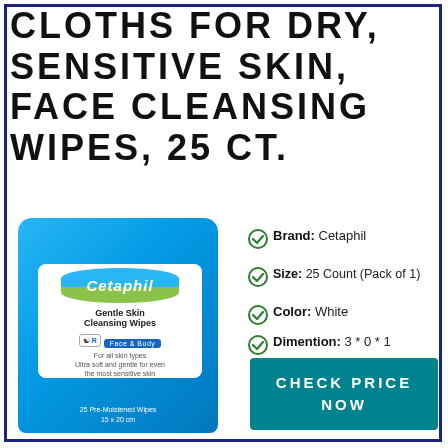CLOTHS FOR DRY, SENSITIVE SKIN, FACE CLEANSING WIPES, 25 CT.
[Figure (photo): Cetaphil Gentle Skin Cleansing Wipes package in blue, Face & Body, for all skin types, 25 Pre-Moistened Wipes]
Brand: Cetaphil
Size: 25 Count (Pack of 1)
Color: White
Dimention: 3 * 0 * 1
CHECK PRICE NOW